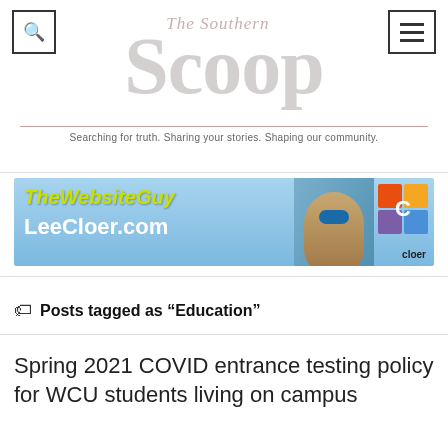The Southern Scoop — Searching for truth. Sharing your stories. Shaping our community.
[Figure (infographic): Advertisement banner for TheWebsiteGuy LeeCloer.com showing a man with sunglasses next to a yellow vehicle, with colorful C logo]
Posts tagged as “Education”
Spring 2021 COVID entrance testing policy for WCU students living on campus